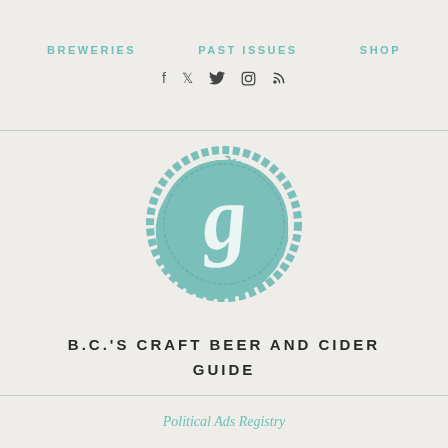BREWERIES   PAST ISSUES   SHOP
[Figure (logo): Circular badge logo with a decorative letter G in script, teal/blue-green color with a scalloped edge border]
B.C.'S CRAFT BEER AND CIDER GUIDE
Political Ads Registry